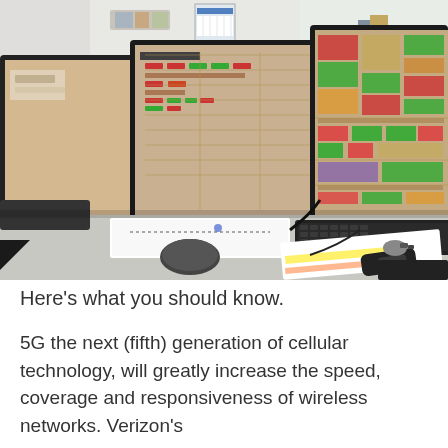[Figure (photo): A row of computer monitors on an office desk showing colorful dashboard/monitoring software screens. A black keyboard, mouse, notebook, papers with yellow and orange highlights, car keys, and phones are on the desk. Office shelving with binders visible in the background.]
Here’s what you should know.
5G the next (fifth) generation of cellular technology, will greatly increase the speed, coverage and responsiveness of wireless networks. Verizon’s